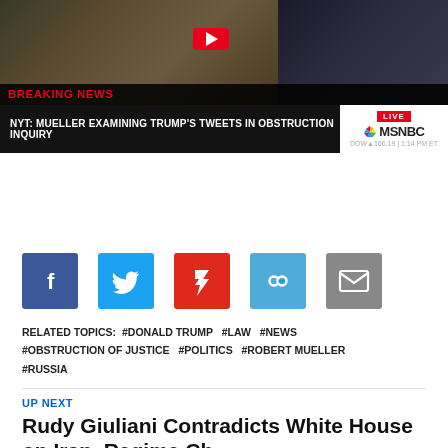[Figure (screenshot): MSNBC Breaking News screenshot showing ticker: 'NYT: MUELLER EXAMINING TRUMP'S TWEETS IN OBSTRUCTION INQUIRY' with two people visible in background and MSNBC LIVE logo]
[Figure (infographic): Five social sharing buttons: Facebook (blue), Twitter (light blue), Flipboard (red), Copy link (blue), Email (gray)]
RELATED TOPICS: #DONALD TRUMP #LAW #NEWS #OBSTRUCTION OF JUSTICE #POLITICS #ROBERT MUELLER #RUSSIA
UP NEXT
Rudy Giuliani Contradicts White House on Iran, Regime Ch...